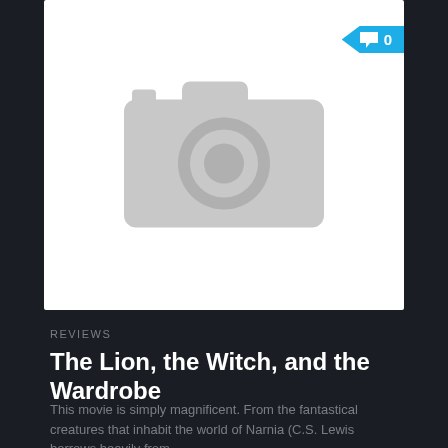[Figure (photo): Placeholder image card with camera icon, white background]
REVIEWS
The Lion, the Witch, and the Wardrobe
This movie is simply magnificent. From the fantastical creatures that inhabit the world of Narnia (C.S. Lewis borrows heavily from...
December 9, 2005
[Figure (photo): Placeholder image card with camera icon, light gray background, partially visible at bottom]